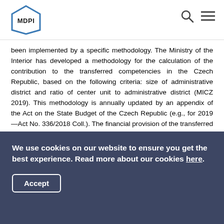MDPI
been implemented by a specific methodology. The Ministry of the Interior has developed a methodology for the calculation of the contribution to the transferred competencies in the Czech Republic, based on the following criteria: size of administrative district and ratio of center unit to administrative district (MICZ 2019). This methodology is annually updated by an appendix of the Act on the State Budget of the Czech Republic (e.g., for 2019—Act No. 336/2018 Coll.). The financial provision of the transferred competencies to municipalities in Slovakia is regulated by §6, paragraph 2 of Act No. 523/2004 Coll., on the budgetary rules of public administration; however, these resources are not sufficient, which leads municipalities to merge
We use cookies on our website to ensure you get the best experience. Read more about our cookies here. Accept